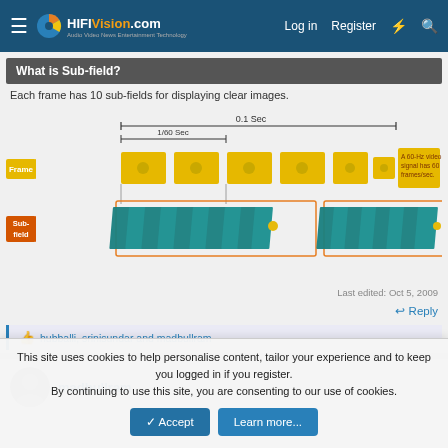HiFiVision.com — Log in | Register
What is Sub-field?
Each frame has 10 sub-fields for displaying clear images.
[Figure (infographic): Diagram showing frame and sub-field relationship. A timeline shows 0.1 Sec total duration with 1/60 Sec per frame. Yellow rectangles represent frames (A 60-Hz video signal has 60 frames/sec). Teal/blue stacked rectangles represent sub-fields arranged under each frame. Orange dotted ellipsis at right indicates continuation.]
Last edited: Oct 5, 2009
↩ Reply
👍 hubballi, srinisundar and madbullram
madbullram
This site uses cookies to help personalise content, tailor your experience and to keep you logged in if you register.
By continuing to use this site, you are consenting to our use of cookies.